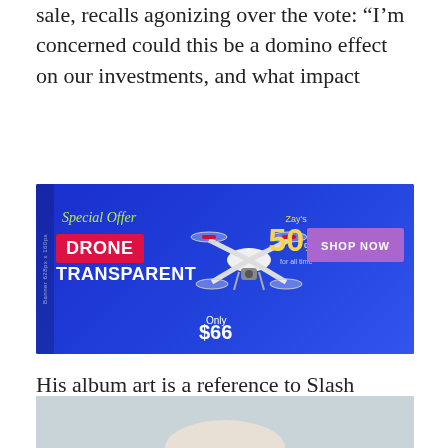sale, recalls agonizing over the vote: “I’m concerned could this be a domino effect on our investments, and what impact
[Figure (other): Advertisement banner for a drone product. Blue background with text: Special Offer, DRONE TRANSPARENT, Only $66, 50% off, SHOP NOW button.]
His album art is a reference to Slash magazine, an underground punk zine printed in Los Angeles during the Seventies. And one of Carty’s new calling cards is the chaotic use of capitalization in song titles. He says it comes from remembering back on texting with old phones when you had to use the predictive.
[Figure (photo): Partial photo at the bottom of the page, showing a light gray/blue background, cropped.]